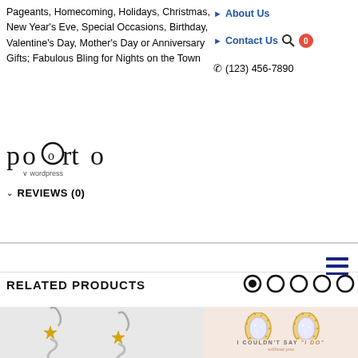Pageants, Homecoming, Holidays, Christmas, New Year's Eve, Special Occasions, Birthday, Valentine's Day, Mother's Day or Anniversary Gifts; Fabulous Bling for Nights on the Town
About Us
Contact Us
(123) 456-7890
[Figure (logo): porto wordpress logo]
REVIEWS (0)
[Figure (other): Hamburger menu icon]
RELATED PRODUCTS
[Figure (other): Carousel navigation dots, first dot active]
[Figure (photo): Christmas tree spiral dangle earrings in silver with gold star]
[Figure (photo): Teardrop crystal halo stud earrings in gold with text I COULDN'T SAY "I DO" without you]